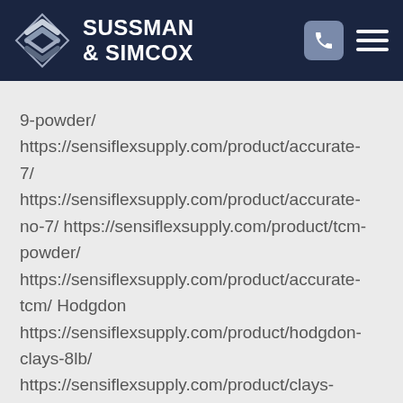SUSSMAN & SIMCOX
9-powder/ https://sensiflexsupply.com/product/accurate-7/ https://sensiflexsupply.com/product/accurate-no-7/ https://sensiflexsupply.com/product/tcm-powder/ https://sensiflexsupply.com/product/accurate-tcm/ Hodgdon https://sensiflexsupply.com/product/hodgdon-clays-8lb/ https://sensiflexsupply.com/product/clays-powder-in-stock/